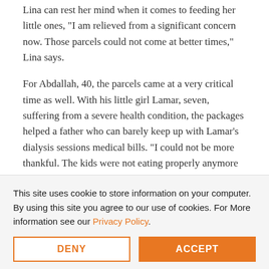Lina can rest her mind when it comes to feeding her little ones, "I am relieved from a significant concern now. Those parcels could not come at better times," Lina says.
For Abdallah, 40, the parcels came at a very critical time as well. With his little girl Lamar, seven, suffering from a severe health condition, the packages helped a father who can barely keep up with Lamar's dialysis sessions medical bills. "I could not be more thankful. The kids were not eating properly anymore because I am not working, so we had to rely on whatever we can get," he says.
"I can't afford remote learning. I am risking their future, but what other choice do we have? My husband is unemployed, and the situation is getting worse" Dalal, mother of Walid, 12,
This site uses cookie to store information on your computer. By using this site you agree to our use of cookies. For More information see our Privacy Policy.